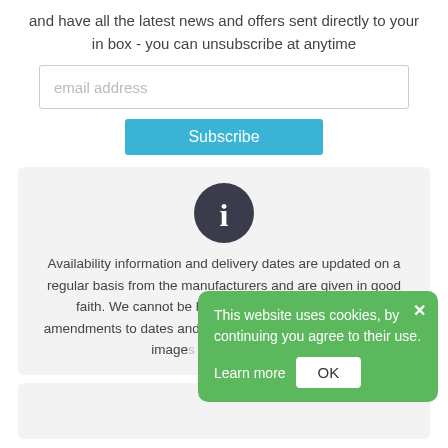and have all the latest news and offers sent directly to your in box - you can unsubscribe at anytime
[Figure (screenshot): Email address input field (text box)]
[Figure (screenshot): Subscribe button (teal/cyan background)]
[Figure (infographic): Info box with dark circle 'i' icon and text about availability information and delivery dates from manufacturers, disclaimer about delays and amendments, and product images note.]
Availability information and delivery dates are updated on a regular basis from the manufacturers and are given in good faith. We cannot be held responsible for delays or amendments to dates and changes in availability. All product image... only and may dif...
[Figure (screenshot): Cookie consent popup (green background): 'This website uses cookies, by continuing you agree to their use. Learn more [OK]' with close button (x)]